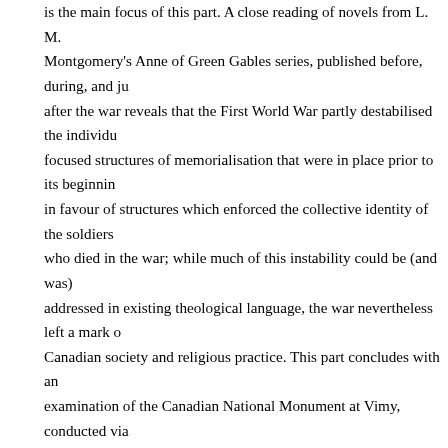is the main focus of this part. A close reading of novels from L. M. Montgomery's Anne of Green Gables series, published before, during, and just after the war reveals that the First World War partly destabilised the individual-focused structures of memorialisation that were in place prior to its beginning in favour of structures which enforced the collective identity of the soldiers who died in the war; while much of this instability could be (and was) addressed in existing theological language, the war nevertheless left a mark on Canadian society and religious practice. This part concludes with an examination of the Canadian National Monument at Vimy, conducted via archival documentation of the monument's design and construction and then through a reading of The Stone Carvers, a recent novel which re-imagines the circumstances documented in the archives through the eyes of one war veteran and his family. This dual reading also demonstrates the instability of memorials, the tendency of their meaning to shift over time. Part III commences with a discussion of the shift in memorial forms precipitated by the Holocaust. I contend that the tendency to memorialise the Holocaust with complex museum narratives betrays an anxiety about the intended audience of these memorials, which points in turn to the degree to which the Holocaust upset previous cultural and religious worldviews. This section focuses on the history and literary matters to an degree and it